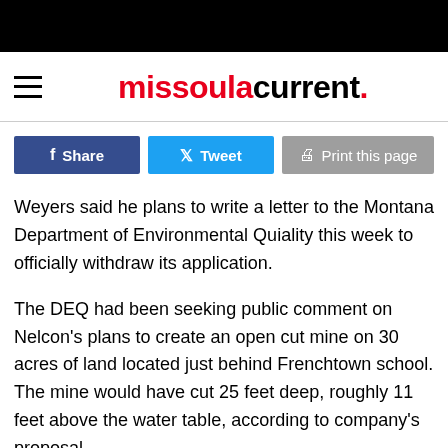missoula current.
Share | Tweet | Print this page
Weyers said he plans to write a letter to the Montana Department of Environmental Quiality this week to officially withdraw its application.
The DEQ had been seeking public comment on Nelcon's plans to create an open cut mine on 30 acres of land located just behind Frenchtown school. The mine would have cut 25 feet deep, roughly 11 feet above the water table, according to company's proposal.
Weyers said the company made its decision out of